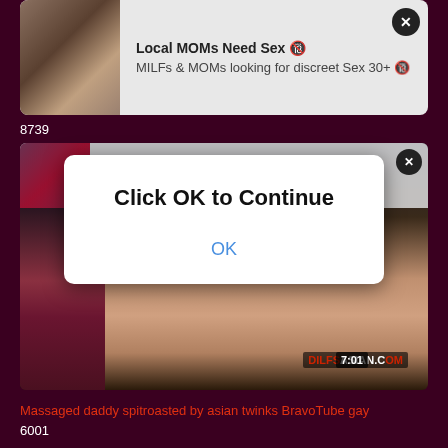[Figure (screenshot): Adult content website screenshot showing video thumbnails and popup dialog]
Local MOMs Need Sex 🔞
MILFs & MOMs looking for discreet Sex 30+ 🔞
8739
Local MOMs Need Sex 🔞
MILFs & MOMs looking for discreet Sex 30+ 🔞
Click OK to Continue
OK
DILFSASIAN.COM
7:01
Massaged daddy spitroasted by asian twinks BravoTube gay
6001